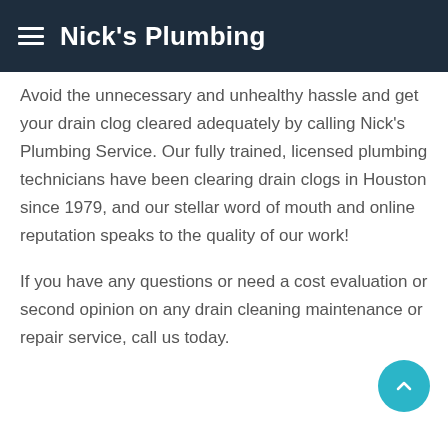Nick's Plumbing
Avoid the unnecessary and unhealthy hassle and get your drain clog cleared adequately by calling Nick's Plumbing Service. Our fully trained, licensed plumbing technicians have been clearing drain clogs in Houston since 1979, and our stellar word of mouth and online reputation speaks to the quality of our work!
If you have any questions or need a cost evaluation or second opinion on any drain cleaning maintenance or repair service, call us today.